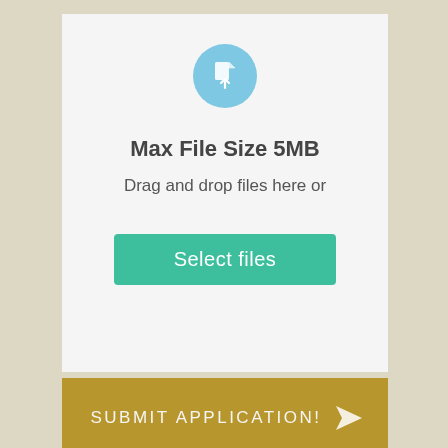[Figure (screenshot): File upload area with a light blue circular icon containing a document upload symbol at the top center]
Max File Size 5MB
Drag and drop files here or
[Figure (other): Green 'Select files' button]
Submit Application!